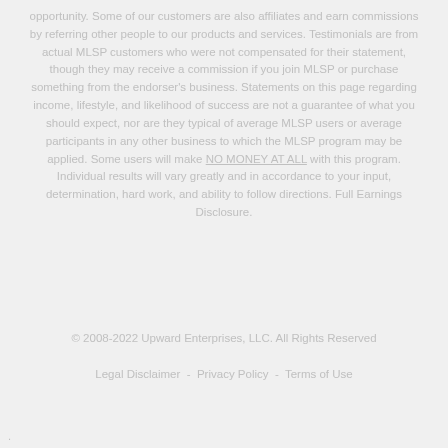opportunity. Some of our customers are also affiliates and earn commissions by referring other people to our products and services. Testimonials are from actual MLSP customers who were not compensated for their statement, though they may receive a commission if you join MLSP or purchase something from the endorser's business. Statements on this page regarding income, lifestyle, and likelihood of success are not a guarantee of what you should expect, nor are they typical of average MLSP users or average participants in any other business to which the MLSP program may be applied. Some users will make NO MONEY AT ALL with this program. Individual results will vary greatly and in accordance to your input, determination, hard work, and ability to follow directions. Full Earnings Disclosure.
© 2008-2022 Upward Enterprises, LLC. All Rights Reserved
Legal Disclaimer  -  Privacy Policy  -  Terms of Use